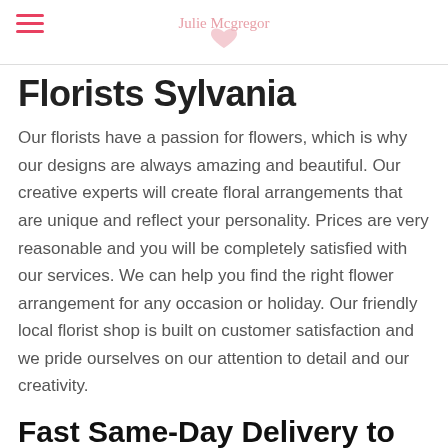Julie Mcgregor Florist
Florists Sylvania
Our florists have a passion for flowers, which is why our designs are always amazing and beautiful. Our creative experts will create floral arrangements that are unique and reflect your personality. Prices are very reasonable and you will be completely satisfied with our services. We can help you find the right flower arrangement for any occasion or holiday. Our friendly local florist shop is built on customer satisfaction and we pride ourselves on our attention to detail and our creativity.
Fast Same-Day Delivery to Sylvania Available